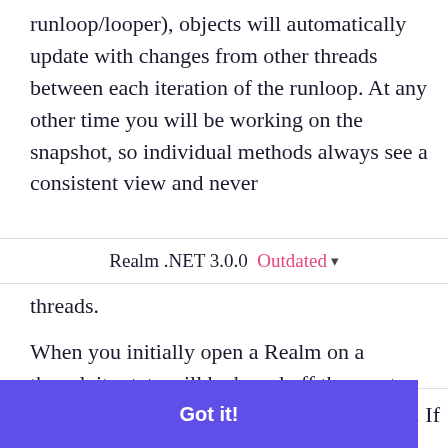runloop/looper), objects will automatically update with changes from other threads between each iteration of the runloop. At any other time you will be working on the snapshot, so individual methods always see a consistent view and never
Realm .NET 3.0.0  Outdated ▾
threads.
When you initially open a Realm on a thread, its state will be based off the most recent successful
This website uses cookies to ensure you get the best experience on our website. Learn more
. If
Got it!